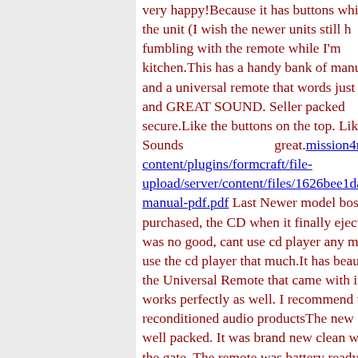very happy!Because it has buttons which the unit (I wish the newer units still h fumbling with the remote while I'm kitchen.This has a handy bank of manual and a universal remote that words just fi and GREAT SOUND. Seller packed secure.Like the buttons on the top. Like t Sounds great.mission4r content/plugins/formcraft/file-upload/server/content/files/1626bee1da3ec manual-pdf.pdf Last Newer model bose w purchased, the CD when it finally ejecte was no good, cant use cd player any more- use the cd player that much.It has beautifu the Universal Remote that came with it, works perfectly as well. I recommend t reconditioned audio productsThe new one well packed. It was brand new clean with the gate. The remote was battery ready and